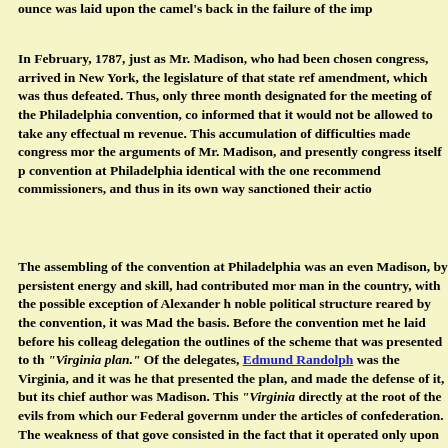ounce was laid upon the camel's back in the failure of the imp
In February, 1787, just as Mr. Madison, who had been chosen congress, arrived in New York, the legislature of that state ref amendment, which was thus defeated. Thus, only three month designated for the meeting of the Philadelphia convention, co informed that it would not be allowed to take any effectual m revenue. This accumulation of difficulties made congress mor the arguments of Mr. Madison, and presently congress itself p convention at Philadelphia identical with the one recommend commissioners, and thus in its own way sanctioned their actio
The assembling of the convention at Philadelphia was an even Madison, by persistent energy and skill, had contributed mor man in the country, with the possible exception of Alexander h noble political structure reared by the convention, it was Mad the basis. Before the convention met he laid before his colleag delegation the outlines of the scheme that was presented to th "Virginia plan." Of the delegates, Edmund Randolph was the Virginia, and it was he that presented the plan, and made the defense of it, but its chief author was Madison. This "Virginia directly at the root of the evils from which our Federal governm under the articles of confederation. The weakness of that gove consisted in the fact that it operated only upon states and not Only states, not individuals, were represented in the Continen